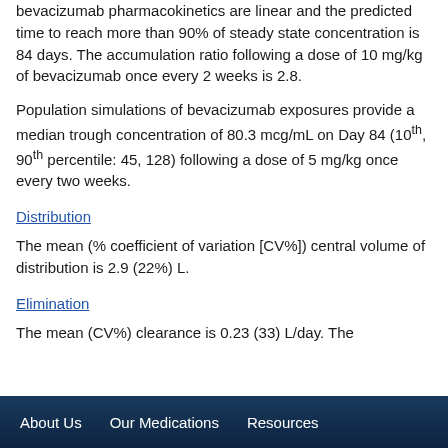bevacizumab pharmacokinetics are linear and the predicted time to reach more than 90% of steady state concentration is 84 days. The accumulation ratio following a dose of 10 mg/kg of bevacizumab once every 2 weeks is 2.8.
Population simulations of bevacizumab exposures provide a median trough concentration of 80.3 mcg/mL on Day 84 (10th, 90th percentile: 45, 128) following a dose of 5 mg/kg once every two weeks.
Distribution
The mean (% coefficient of variation [CV%]) central volume of distribution is 2.9 (22%) L.
Elimination
The mean (CV%) clearance is 0.23 (33) L/day. The
About Us   Our Medications   Resources